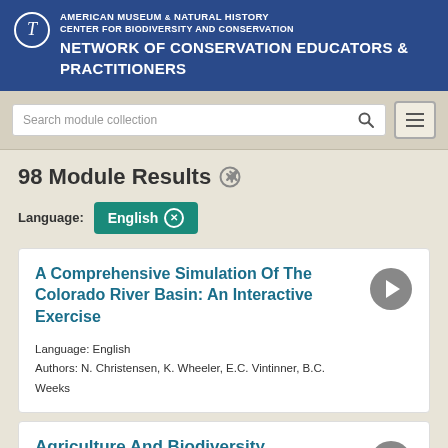American Museum of Natural History | Center for Biodiversity and Conservation | Network of Conservation Educators & Practitioners
[Figure (screenshot): Search bar with placeholder text 'Search module collection' and a magnifying glass icon, plus a hamburger menu button]
98 Module Results
Language: English ×
A Comprehensive Simulation Of The Colorado River Basin: An Interactive Exercise
Language: English
Authors: N. Christensen, K. Wheeler, E.C. Vintinner, B.C. Weeks
Agriculture And Biodiversity
Language: English   Also Available in: Spanish